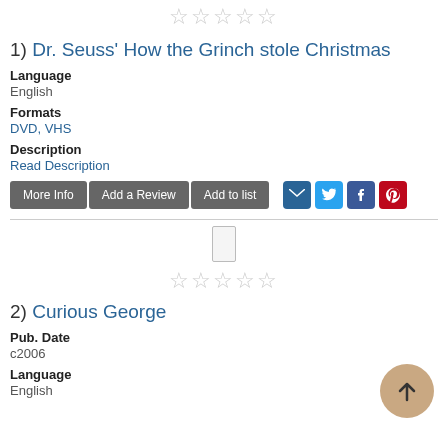[Figure (other): Five empty star rating icons for item 1]
1) Dr. Seuss' How the Grinch stole Christmas
Language
English
Formats
DVD, VHS
Description
Read Description
[Figure (other): Action buttons: More Info, Add a Review, Add to list; Social share icons: email, Twitter, Facebook, Pinterest]
[Figure (other): Book placeholder thumbnail and five empty star rating icons for item 2]
2) Curious George
Pub. Date
c2006
Language
English
[Figure (other): Back to top circular button with upward arrow]